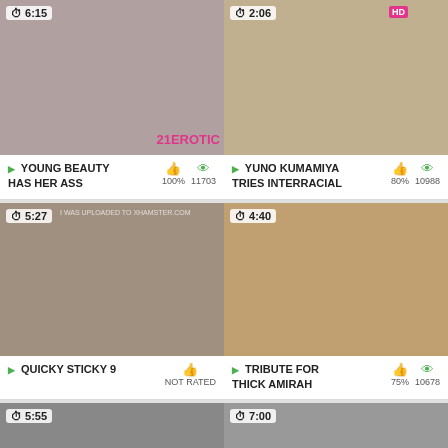[Figure (screenshot): Video thumbnail grid showing adult video thumbnails with titles, ratings and view counts]
YOUNG BEAUTY HAS HER ASS | 100% 11703
YUNO KUMAMIYA TRIES INTERRACIAL | 80% 10988
QUICKY STICKY 9 | NOT RATED
TRIBUTE FOR THICK AMIRAH | 75% 10678